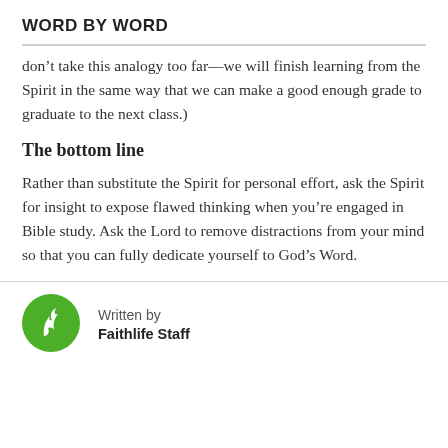WORD BY WORD
don’t take this analogy too far—we will finish learning from the Spirit in the same way that we can make a good enough grade to graduate to the next class.)
The bottom line
Rather than substitute the Spirit for personal effort, ask the Spirit for insight to expose flawed thinking when you’re engaged in Bible study. Ask the Lord to remove distractions from your mind so that you can fully dedicate yourself to God’s Word.
Written by
Faithlife Staff